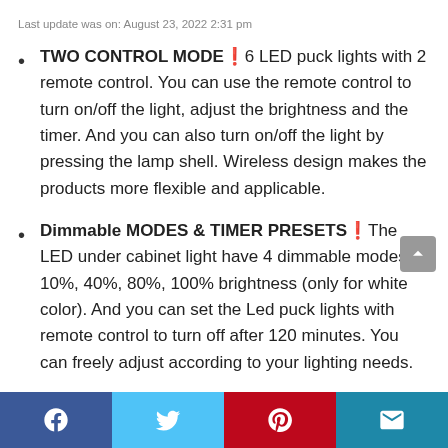Last update was on: August 23, 2022 2:31 pm
TWO CONTROL MODE%6 LED puck lights with 2 remote control. You can use the remote control to turn on/off the light, adjust the brightness and the timer. And you can also turn on/off the light by pressing the lamp shell. Wireless design makes the products more flexible and applicable.
Dimmable MODES & TIMER PRESETS%The LED under cabinet light have 4 dimmable modes 10%, 40%, 80%, 100% brightness (only for white color). And you can set the Led puck lights with remote control to turn off after 120 minutes. You can freely adjust according to your lighting needs.
Social share buttons: Facebook, Twitter, Pinterest, Email